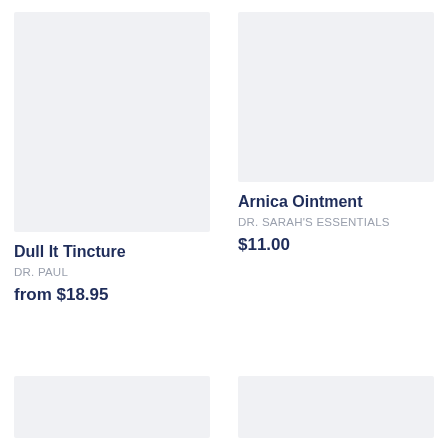[Figure (photo): Product image placeholder for Dull It Tincture — light gray/blue rectangle]
Dull It Tincture
DR. PAUL
from $18.95
[Figure (photo): Product image placeholder for Arnica Ointment — light gray/blue rectangle]
Arnica Ointment
DR. SARAH'S ESSENTIALS
$11.00
[Figure (photo): Product image placeholder bottom-left — light gray/blue rectangle]
[Figure (photo): Product image placeholder bottom-right — light gray/blue rectangle]